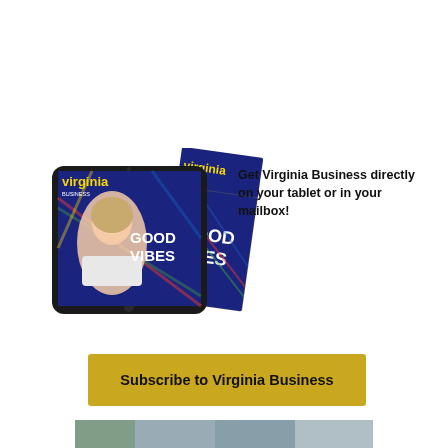[Figure (illustration): Virginia Business magazine shown on a tablet and as a print copy, both displaying 'GOOD VIBES' cover with a smiling woman]
Get Virginia Business directly on your tablet or in your mailbox!
Subscribe to Virginia Business
[Figure (photo): Partial photo at the bottom of the page, cropped]